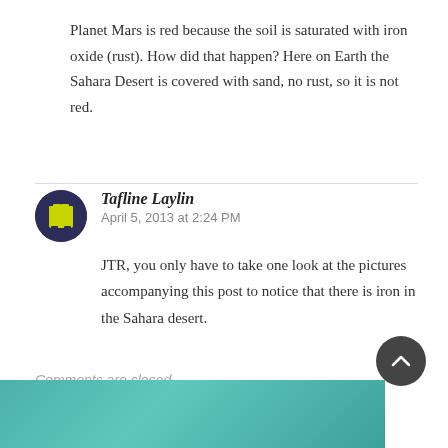Planet Mars is red because the soil is saturated with iron oxide (rust). How did that happen? Here on Earth the Sahara Desert is covered with sand, no rust, so it is not red.
Tafline Laylin
April 5, 2013 at 2:24 PM
JTR, you only have to take one look at the pictures accompanying this post to notice that there is iron in the Sahara desert.
Comments are closed.
[Figure (photo): Teal/turquoise tinted photo at the bottom of the page, partially visible]
[Figure (illustration): Circular scroll-to-top button with upward chevron arrow, dark grey background]